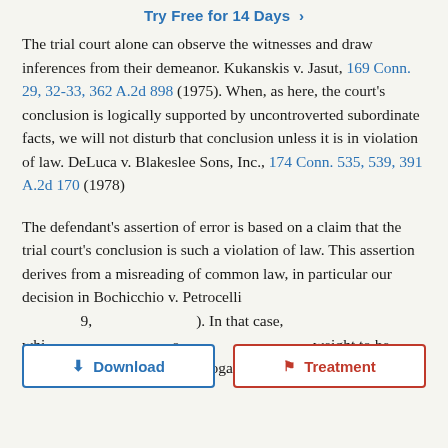Try Free for 14 Days >
The trial court alone can observe the witnesses and draw inferences from their demeanor. Kukanskis v. Jasut, 169 Conn. 29, 32-33, 362 A.2d 898 (1975). When, as here, the court's conclusion is logically supported by uncontroverted subordinate facts, we will not disturb that conclusion unless it is in violation of law. DeLuca v. Blakeslee Sons, Inc., 174 Conn. 535, 539, 391 A.2d 170 (1978)
The defendant's assertion of error is based on a claim that the trial court's conclusion is such a violation of law. This assertion derives from a misreading of common law, in particular our decision in Bochicchio v. Petrocelli [citation]. In that case, which [text] weight to be given to an answer to an interrogatory, we stated (pp.